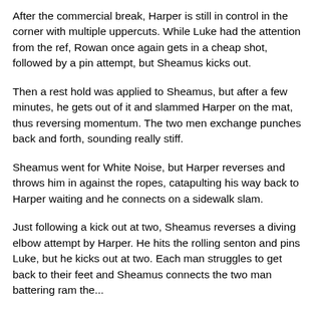After the commercial break, Harper is still in control in the corner with multiple uppercuts. While Luke had the attention from the ref, Rowan once again gets in a cheap shot, followed by a pin attempt, but Sheamus kicks out.
Then a rest hold was applied to Sheamus, but after a few minutes, he gets out of it and slammed Harper on the mat, thus reversing momentum. The two men exchange punches back and forth, sounding really stiff.
Sheamus went for White Noise, but Harper reverses and throws him in against the ropes, catapulting his way back to Harper waiting and he connects on a sidewalk slam.
Just following a kick out at two, Sheamus reverses a diving elbow attempt by Harper. He hits the rolling senton and pins Luke, but he kicks out at two. Each man struggles to get back to their feet and Sheamus connects the two man battering ram the...